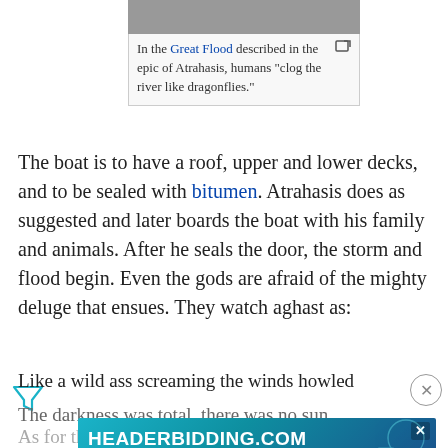[Figure (other): Top of a Wikipedia-style image box showing a grayscale photo (partially visible) with a caption below reading: In the Great Flood described in the epic of Atrahasis, humans 'clog the river like dragonflies.' An expand icon appears top-right of the box.]
In the Great Flood described in the epic of Atrahasis, humans "clog the river like dragonflies."
The boat is to have a roof, upper and lower decks, and to be sealed with bitumen. Atrahasis does as suggested and later boards the boat with his family and animals. After he seals the door, the storm and flood begin. Even the gods are afraid of the mighty deluge that ensues. They watch aghast as:
Like a wild ass screaming the winds howled
The darkness was total, there was no sun...
As for the goddess...
Her lips...
The great gods, the Annunaki,